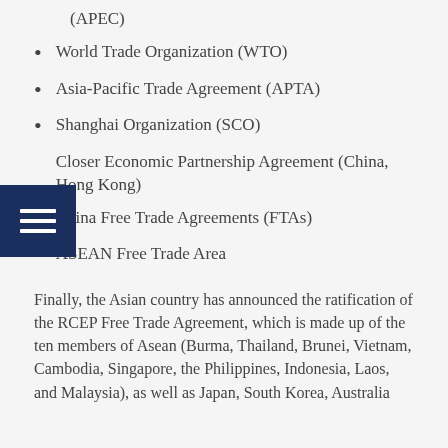(APEC)
World Trade Organization (WTO)
Asia-Pacific Trade Agreement (APTA)
Shanghai Organization (SCO)
Closer Economic Partnership Agreement (China, Hong Kong)
China Free Trade Agreements (FTAs)
ASEAN Free Trade Area
Finally, the Asian country has announced the ratification of the RCEP Free Trade Agreement, which is made up of the ten members of Asean (Burma, Thailand, Brunei, Vietnam, Cambodia, Singapore, the Philippines, Indonesia, Laos, and Malaysia), as well as Japan, South Korea, Australia and New Zealand. This agreement will...